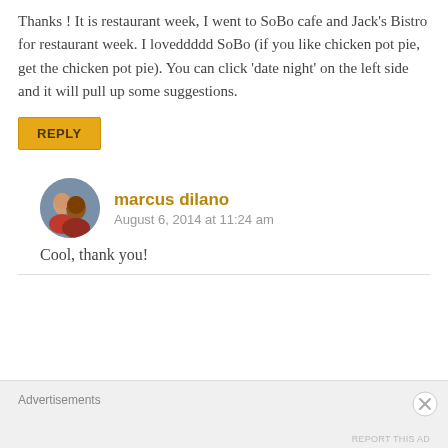Thanks ! It is restaurant week, I went to SoBo cafe and Jack's Bistro for restaurant week. I loveddddd SoBo (if you like chicken pot pie, get the chicken pot pie). You can click ‘date night’ on the left side and it will pull up some suggestions.
REPLY
[Figure (photo): Circular avatar photo of marcus dilano showing two people]
marcus dilano
August 6, 2014 at 11:24 am
Cool, thank you!
Advertisements